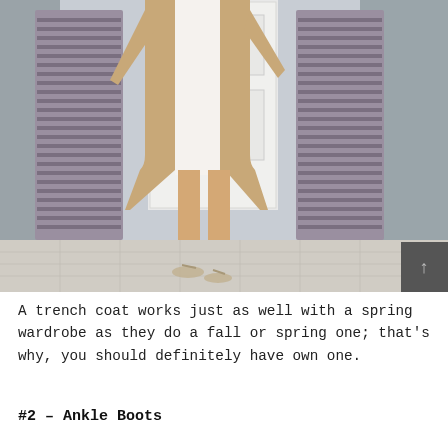[Figure (photo): Street style photo of a woman wearing a tan trench coat over a white dress with strappy heeled sandals, standing in front of purple louvered shutters and a white door on a tiled sidewalk.]
A trench coat works just as well with a spring wardrobe as they do a fall or spring one; that's why, you should definitely have own one.
#2 – Ankle Boots